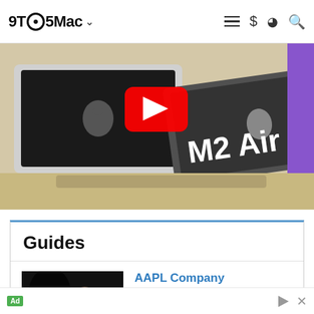9TO5Mac
[Figure (photo): Hero image showing two MacBook laptops on a desk, one silver and one space gray with 'M2 Air' text overlay. A red YouTube play button is visible. Purple background visible on right side.]
Guides
[Figure (photo): Thumbnail photo of Tim Cook waving, shown from behind a dark silhouette foreground.]
AAPL Company
Breaking news from Cupertino. We'll give you the latest from Apple headquarters and decipher fact from fiction from the rumor mill.
Ad